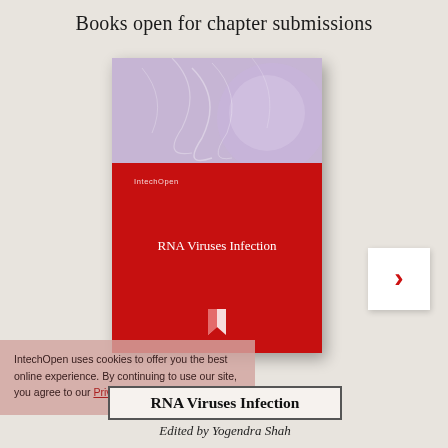Books open for chapter submissions
[Figure (illustration): Book cover for 'RNA Viruses Infection' published by IntechOpen. Top portion has a lavender/purple decorative background with organic patterns. Bottom portion is red with 'IntechOpen' publisher name, book title 'RNA Viruses Infection', and the IntechOpen logo (stylized flag/book mark icon).]
[Figure (other): Navigation arrow button (right chevron '›') in a white square box, positioned to the right of the book cover.]
IntechOpen uses cookies to offer you the best online experience. By continuing to use our site, you agree to our Privacy Policy.
RNA Viruses Infection
Edited by Yogendra Shah